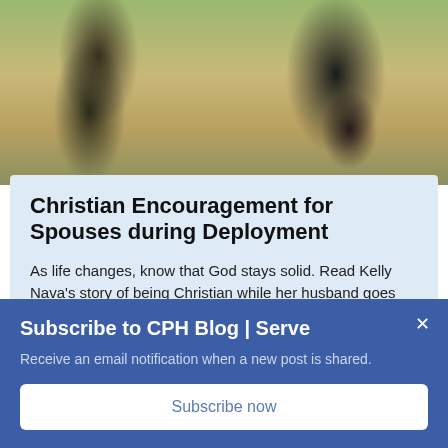[Figure (photo): Outdoor photo of two people walking, one in military camouflage and one in a dark polka-dot dress, photographed from behind in a natural setting]
Christian Encouragement for Spouses during Deployment
As life changes, know that God stays solid. Read Kelly Nava's story of being Christian while her husband goes through his first deployment...
Kelly Nava
Subscribe to CPH Blog | Serve
Receive an email notification when a new post is shared.
Subscribe now